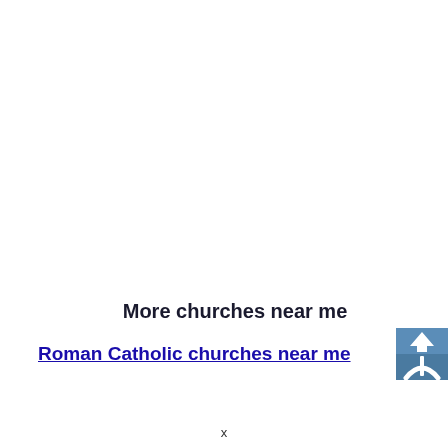More churches near me
Roman Catholic churches near me
[Figure (other): Blue square icon with white upward arrow and road/path symbol below it]
x